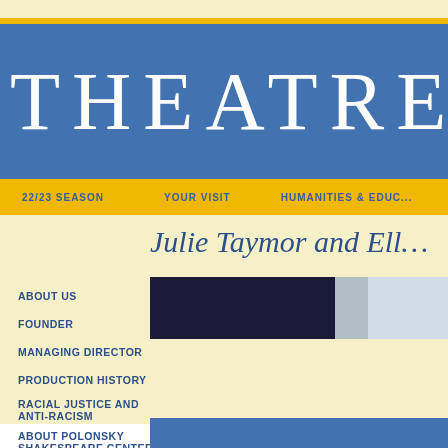THEATRE FOR A
22/23 SEASON   YOUR VISIT   HUMANITIES & EDUC…
Julie Taymor and Ell…
[Figure (photo): Dark interior photo strip and lighter exterior building photo side by side]
ABOUT US
FOUNDER
MANAGING DIRECTOR
PRODUCTION HISTORY
RACIAL JUSTICE AND ANTI-RACISM RESOURCES
ABOUT POLONSKY SHAKESPEARE CENTER
OVERVIEW
AWARDS & CITATIONS
BOARD OF DIRECTORS
RESIDENT ARTISTS